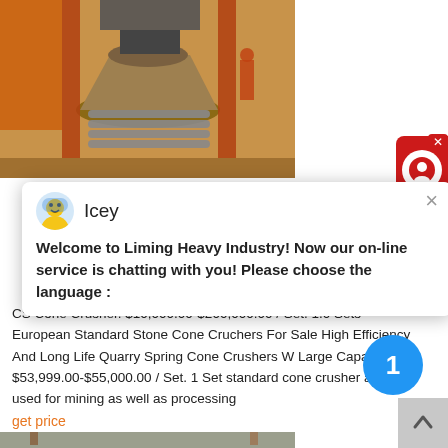[Figure (photo): Industrial cone crusher machine photographed outdoors on a job site with orange/rust colored heavy equipment surrounding it]
[Figure (screenshot): Live chat popup from Liming Heavy Industry website featuring avatar named Icey with welcome message asking user to choose language]
CS Cone Crusher. $10,000.00-$200,000.00 / Set. 1.0 Sets European Standard Stone Cone Cruchers For Sale High Efficiency And Long Life Quarry Spring Cone Crushers W Large Capacity. $53,999.00-$55,000.00 / Set. 1 Set standard cone crusher are used for mining as well as processing
get price
[Figure (photo): Bottom portion of an industrial conveyor or crane structure photographed against a blue sky background]